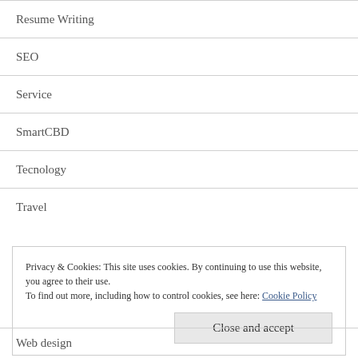Resume Writing
SEO
Service
SmartCBD
Tecnology
Travel
Privacy & Cookies: This site uses cookies. By continuing to use this website, you agree to their use.
To find out more, including how to control cookies, see here: Cookie Policy
Close and accept
Web design